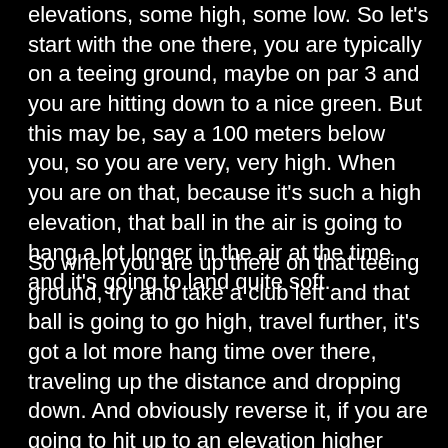elevations, some high, some low. So let's start with the one there, you are typically on a teeing ground, maybe on par 3 and you are hitting down to a nice green. But this may be, say a 100 meters below you, so you are very, very high. When you are on that, because it's such a high elevation, that ball in the air is going to hang a lot longer in the air at the time and it's going to land quite soft.
So when you are up there on that teeing ground, try and take a club left and that ball is going to go high, travel further, it's got a lot more hang time over there, traveling up the distance and dropping down. And obviously reverse it, if you are going to hit up to an elevation higher than you, then take a club more, because you are going to have to carry that ball up there — so for the attempt to that, to try to...